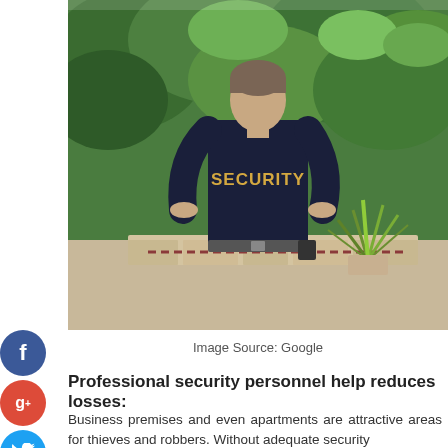[Figure (photo): A security guard seen from behind wearing a dark navy polo shirt with 'SECURITY' written in gold letters on the back. He is standing outdoors near a stone fence with a plant and a chain visible, with green trees/shrubs in the background.]
Image Source: Google
Professional security personnel help reduces losses:
Business premises and even apartments are attractive areas for thieves and robbers. Without adequate security